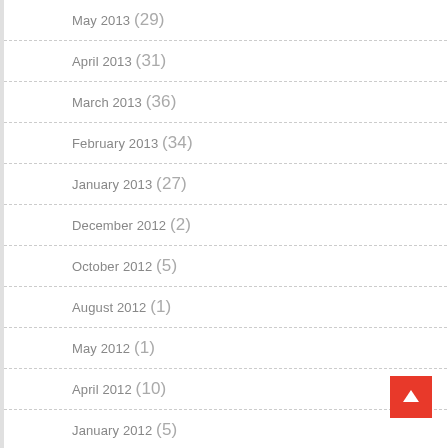May 2013 (29)
April 2013 (31)
March 2013 (36)
February 2013 (34)
January 2013 (27)
December 2012 (2)
October 2012 (5)
August 2012 (1)
May 2012 (1)
April 2012 (10)
January 2012 (5)
December 2011 (3)
November 2011 (2)